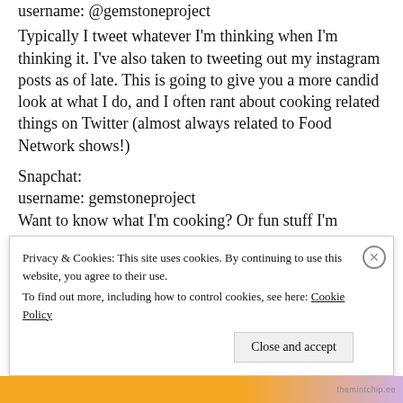username: @gemstoneproject
Typically I tweet whatever I'm thinking when I'm thinking it. I've also taken to tweeting out my instagram posts as of late. This is going to give you a more candid look at what I do, and I often rant about cooking related things on Twitter (almost always related to Food Network shows!)
Snapchat:
username: gemstoneproject
Want to know what I'm cooking? Or fun stuff I'm doing? I've been enjoying snapchat lately, posting snapshots of life, often a bit more candid than what
Privacy & Cookies: This site uses cookies. By continuing to use this website, you agree to their use.
To find out more, including how to control cookies, see here: Cookie Policy
Close and accept